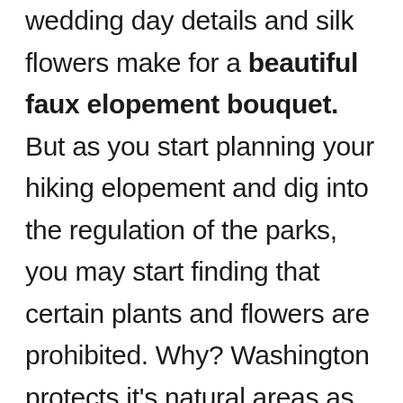wedding day details and silk flowers make for a beautiful faux elopement bouquet. But as you start planning your hiking elopement and dig into the regulation of the parks, you may start finding that certain plants and flowers are prohibited. Why? Washington protects it's natural areas as much as possible, and if you bring a non-native species into an area, it might wreck some of the other wonderful things that happen in that area!